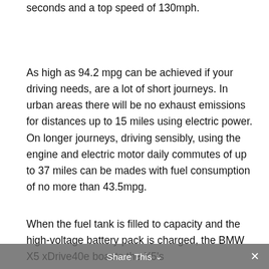seconds and a top speed of 130mph.
As high as 94.2 mpg can be achieved if your driving needs, are a lot of short journeys. In urban areas there will be no exhaust emissions for distances up to 15 miles using electric power. On longer journeys, driving sensibly, using the engine and electric motor daily commutes of up to 37 miles can be mades with fuel consumption of no more than 43.5mpg.
When the fuel tank is filled to capacity and the high-voltage battery pack is charged, the BMW X5 xDrive40e boasts the X5's
Share This ∨  ×